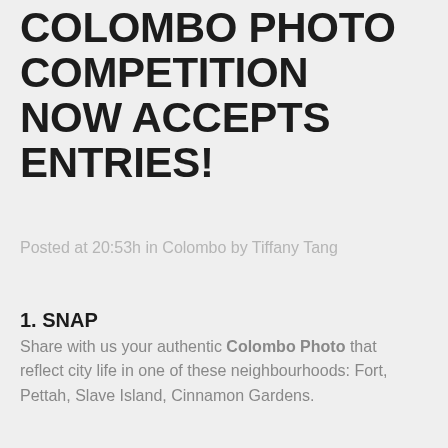COLOMBO PHOTO COMPETITION NOW ACCEPTS ENTRIES!
Posted at 20:53h in Colombo by Tiffany Tang
1. SNAP
Share with us your authentic Colombo Photo that reflect city life in one of these neighbourhoods: Fort, Pettah, Slave Island, Cinnamon Gardens.
2. POST
Simply upload your photo to Instagram. Make sure your account is public and upload your photo before 4:00PM 17 November 2018.
3. TAG US!
Tag your photo @idiscoverapp